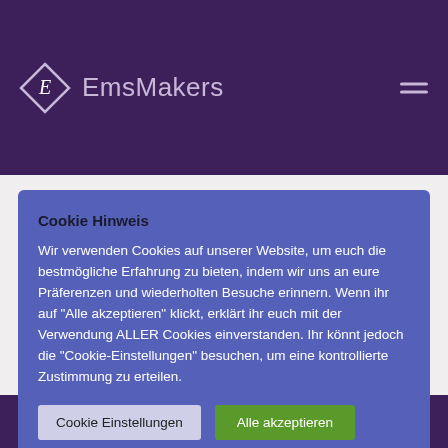EmsMakers
Cookie Hinweis
Wir verwenden Cookies auf unserer Website, um euch die bestmögliche Erfahrung zu bieten, indem wir uns an eure Präferenzen und wiederholten Besuche erinnern. Wenn ihr auf "Alle akzeptieren" klickt, erklärt ihr euch mit der Verwendung ALLER Cookies einverstanden. Ihr könnt jedoch die "Cookie-Einstellungen" besuchen, um eine kontrollierte Zustimmung zu erteilen.
Cookie Einstellungen
Alle akzeptieren
Weiterlesen
Weiterlesen